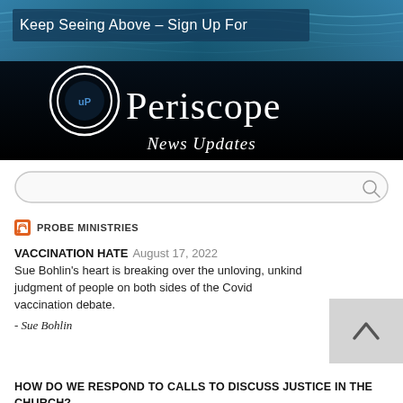[Figure (illustration): Periscope News Updates banner with ocean water background. Text reads 'Keep Seeing Above – Sign Up For' with Periscope logo (concentric circles with 'uP') and 'News Updates' below.]
[Figure (other): Search bar with magnifying glass icon]
PROBE MINISTRIES
VACCINATION HATE August 17, 2022
Sue Bohlin's heart is breaking over the unloving, unkind judgment of people on both sides of the Covid vaccination debate.
- Sue Bohlin
HOW DO WE RESPOND TO CALLS TO DISCUSS JUSTICE IN THE CHURCH?